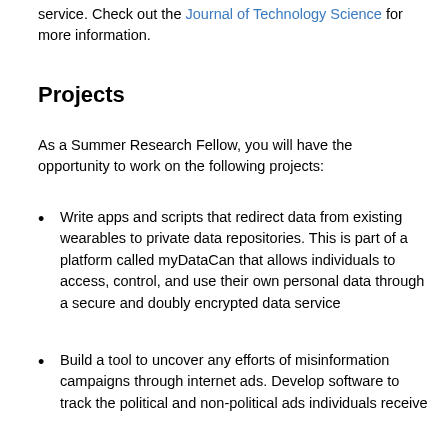service. Check out the Journal of Technology Science for more information.
Projects
As a Summer Research Fellow, you will have the opportunity to work on the following projects:
Write apps and scripts that redirect data from existing wearables to private data repositories. This is part of a platform called myDataCan that allows individuals to access, control, and use their own personal data through a secure and doubly encrypted data service
Build a tool to uncover any efforts of misinformation campaigns through internet ads. Develop software to track the political and non-political ads individuals receive